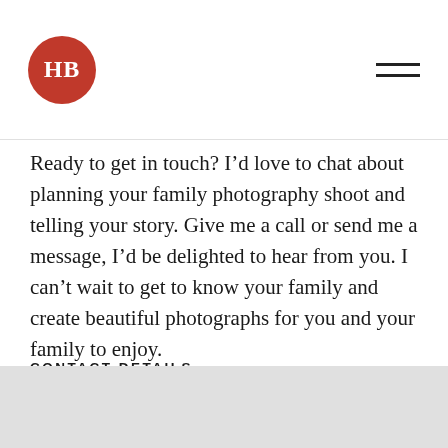HB logo and hamburger menu
Ready to get in touch? I’d love to chat about planning your family photography shoot and telling your story. Give me a call or send me a message, I’d be delighted to hear from you. I can’t wait to get to know your family and create beautiful photographs for you and your family to enjoy.
CONTACT DETAILS